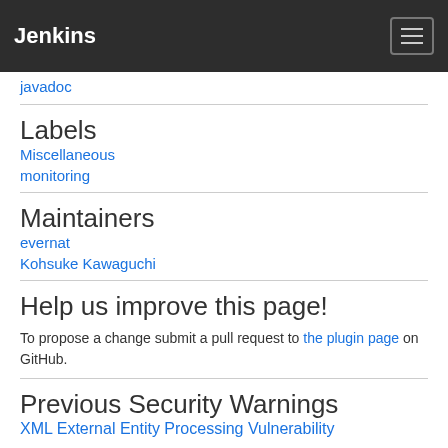Jenkins
javadoc
Labels
Miscellaneous
monitoring
Maintainers
evernat
Kohsuke Kawaguchi
Help us improve this page!
To propose a change submit a pull request to the plugin page on GitHub.
Previous Security Warnings
XML External Entity Processing Vulnerability